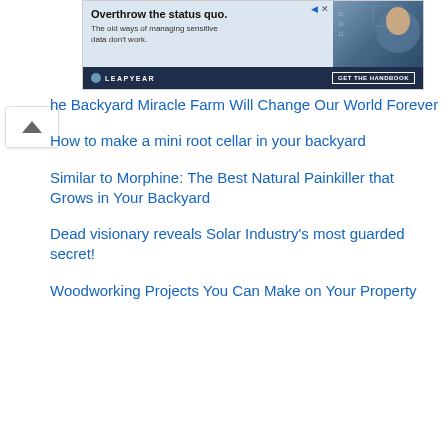[Figure (screenshot): Advertisement banner for Leapyear with headline 'Overthrow the status quo. The old ways of managing sensitive data don't work.' with a dark navy footer showing the Leapyear logo and 'GET THE HANDBOOK' call-to-action button.]
he Backyard Miracle Farm Will Change Our World Forever
How to make a mini root cellar in your backyard
Similar to Morphine: The Best Natural Painkiller that Grows in Your Backyard
Dead visionary reveals Solar Industry's most guarded secret!
Woodworking Projects You Can Make on Your Property